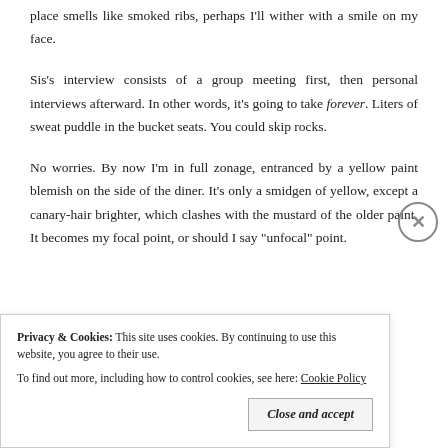place smells like smoked ribs, perhaps I'll wither with a smile on my face.
Sis's interview consists of a group meeting first, then personal interviews afterward. In other words, it's going to take forever. Liters of sweat puddle in the bucket seats. You could skip rocks.
No worries. By now I'm in full zonage, entranced by a yellow paint blemish on the side of the diner. It's only a smidgen of yellow, except a canary-hair brighter, which clashes with the mustard of the older paint. It becomes my focal point, or should I say "unfocal" point.
Privacy & Cookies: This site uses cookies. By continuing to use this website, you agree to their use. To find out more, including how to control cookies, see here: Cookie Policy
Close and accept